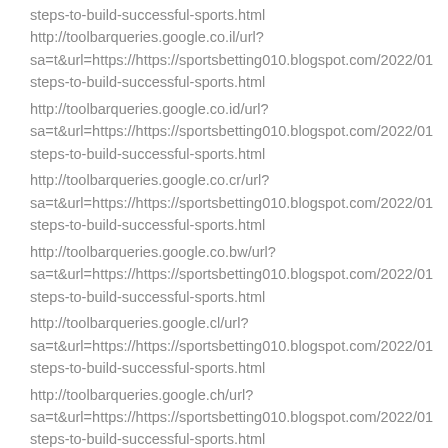steps-to-build-successful-sports.html
http://toolbarqueries.google.co.il/url?
sa=t&url=https://https://sportsbetting010.blogspot.com/2022/01
steps-to-build-successful-sports.html
http://toolbarqueries.google.co.id/url?
sa=t&url=https://https://sportsbetting010.blogspot.com/2022/01
steps-to-build-successful-sports.html
http://toolbarqueries.google.co.cr/url?
sa=t&url=https://https://sportsbetting010.blogspot.com/2022/01
steps-to-build-successful-sports.html
http://toolbarqueries.google.co.bw/url?
sa=t&url=https://https://sportsbetting010.blogspot.com/2022/01
steps-to-build-successful-sports.html
http://toolbarqueries.google.cl/url?
sa=t&url=https://https://sportsbetting010.blogspot.com/2022/01
steps-to-build-successful-sports.html
http://toolbarqueries.google.ch/url?
sa=t&url=https://https://sportsbetting010.blogspot.com/2022/01
steps-to-build-successful-sports.html
http://toolbarqueries.google.ca/url?
sa=t&url=https://https://sportsbetting010.blogspot.com/2022/01